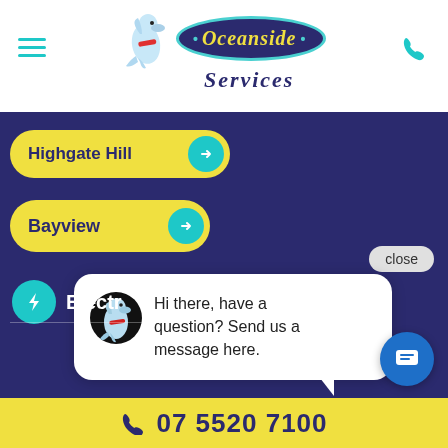[Figure (logo): Oceanside Services logo with dolphin mascot and teal oval containing yellow italic text, with 'Services' in purple italic below]
Highgate Hill →
Bayview →
close
[Figure (screenshot): Chat popup with avatar and message: Hi there, have a question? Send us a message here.]
Hi there, have a question? Send us a message here.
Electr...
07 5520 7100